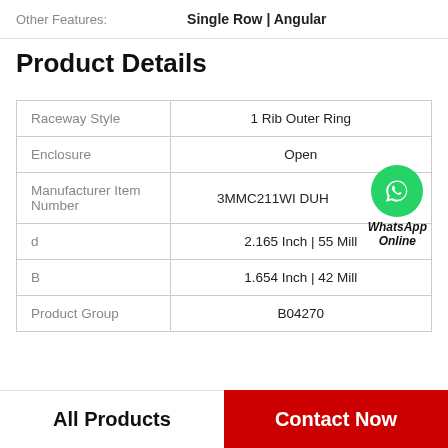Other Features: Single Row | Angular
Product Details
| Property | Value |
| --- | --- |
| Raceway Style | 1 Rib Outer Ring |
| Enclosure | Open |
| Manufacturer Item Number | 3MMC211WI DUH |
| d | 2.165 Inch | 55 Mill |
| B | 1.654 Inch | 42 Mill |
| Product Group | B04270 |
All Products
Contact Now